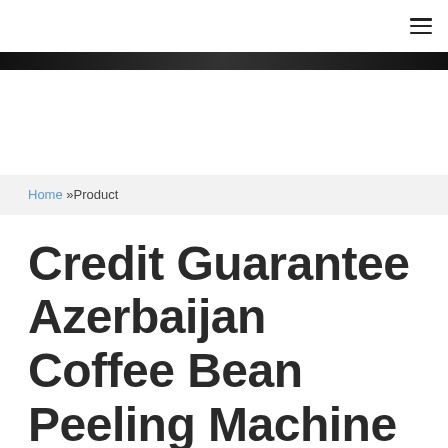☰
Home »Product
Credit Guarantee Azerbaijan Coffee Bean Peeling Machine
Just fill in the form below, click submit,